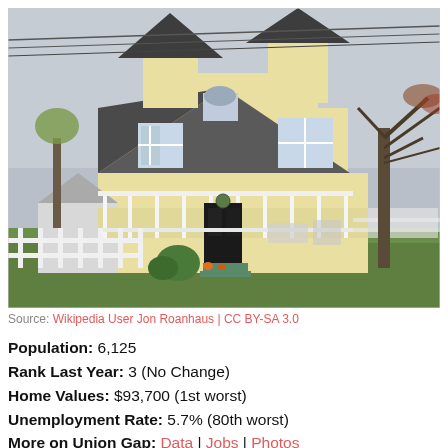[Figure (photo): Victorian-style two-story yellow house with a wrap-around porch, dark pointed roof with turret, white fence in foreground, trees on right side.]
Source: Wikipedia User Jon Roanhaus | CC BY-SA 3.0
Population: 6,125
Rank Last Year: 3 (No Change)
Home Values: $93,700 (1st worst)
Unemployment Rate: 5.7% (80th worst)
More on Union Gap: Data | Jobs | Photos